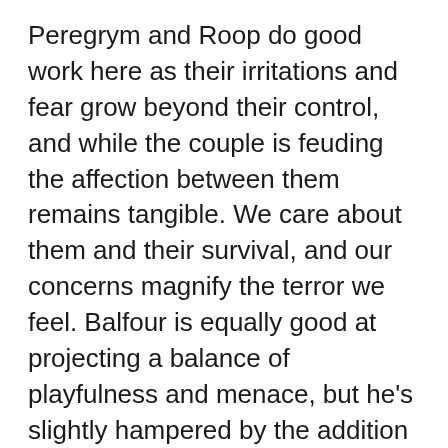Peregrym and Roop do good work here as their irritations and fear grow beyond their control, and while the couple is feuding the affection between them remains tangible. We care about them and their survival, and our concerns magnify the terror we feel. Balfour is equally good at projecting a balance of playfulness and menace, but he's slightly hampered by the addition of a thick Irish accent – Balfour's not Irish, and there's no real reason for the character to be.
The film's biggest stumbling block comes well before the third act tears its way across the